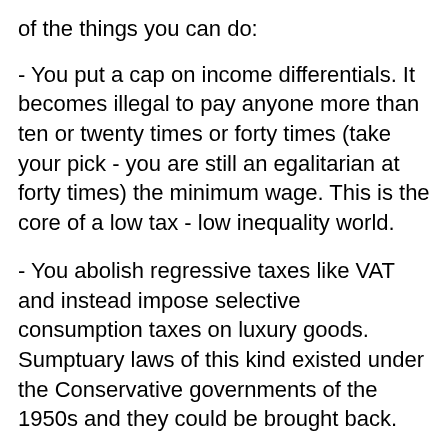of the things you can do:
- You put a cap on income differentials. It becomes illegal to pay anyone more than ten or twenty times or forty times (take your pick - you are still an egalitarian at forty times) the minimum wage. This is the core of a low tax - low inequality world.
- You abolish regressive taxes like VAT and instead impose selective consumption taxes on luxury goods. Sumptuary laws of this kind existed under the Conservative governments of the 1950s and they could be brought back.
- You reduce income taxes all round and shift some of the (reduced) burden of taxation to inheritance taxes to damp down the inequality which passes from